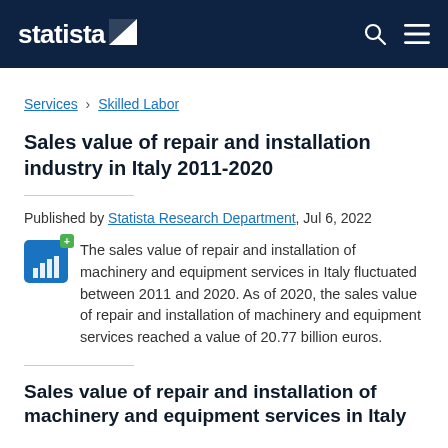statista
Services › Skilled Labor
Sales value of repair and installation industry in Italy 2011-2020
Published by Statista Research Department, Jul 6, 2022
The sales value of repair and installation of machinery and equipment services in Italy fluctuated between 2011 and 2020. As of 2020, the sales value of repair and installation of machinery and equipment services reached a value of 20.77 billion euros.
Sales value of repair and installation of machinery and equipment services in Italy